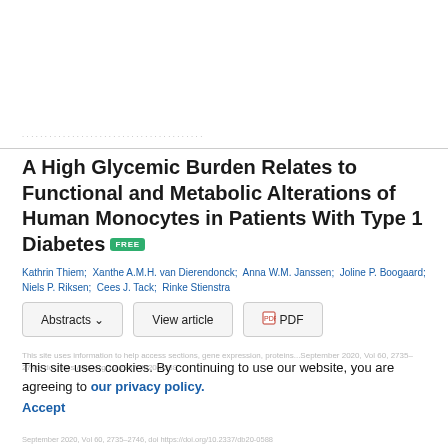A High Glycemic Burden Relates to Functional and Metabolic Alterations of Human Monocytes in Patients With Type 1 Diabetes FREE
Kathrin Thiem; Xanthe A.M.H. van Dierendonck; Anna W.M. Janssen; Joline P. Boogaard; Niels P. Riksen; Cees J. Tack; Rinke Stienstra
Abstracts ∨  |  View article  |  PDF
This site uses cookies. By continuing to use our website, you are agreeing to our privacy policy. Accept